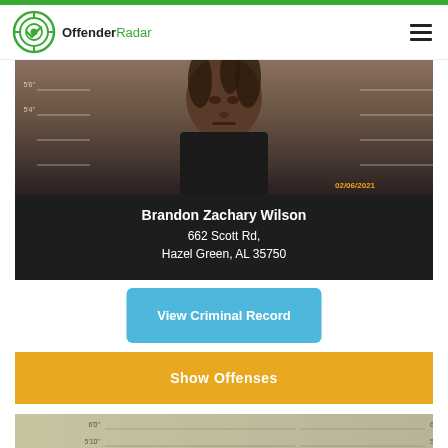[Figure (logo): OffenderRadar logo with circular target/radar icon in green and text 'OffenderRadar']
[Figure (photo): Mugshot photo of Brandon Zachary Wilson against height measurement background, date stamp 02/06/2021]
Brandon Zachary Wilson
662 Scott Rd, Hazel Green, AL 35750
View Criminal Record
Show Offenses
[Figure (photo): Partial mugshot photo of second individual (blonde hair visible) against height measurement background]